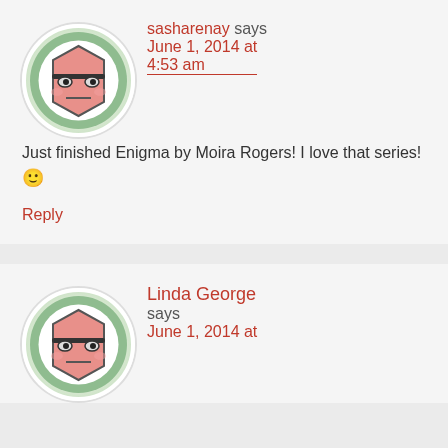[Figure (illustration): Avatar icon: cartoon face with glasses on green circle background, first comment]
sasharenay says June 1, 2014 at 4:53 am
Just finished Enigma by Moira Rogers! I love that series! 🙂
Reply
[Figure (illustration): Avatar icon: cartoon face with glasses on green circle background, second comment]
Linda George says June 1, 2014 at